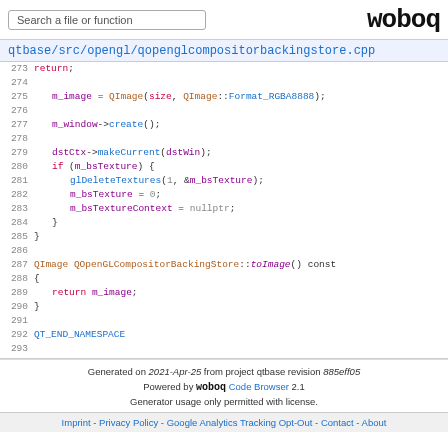Search a file or function   woboq
qtbase/src/opengl/qopenglcompositorbackingstore.cpp
Code lines 273-293 showing C++ source code
Generated on 2021-Apr-25 from project qtbase revision 885eff05
Powered by woboq Code Browser 2.1
Generator usage only permitted with license.
Imprint - Privacy Policy - Google Analytics Tracking Opt-Out - Contact - About